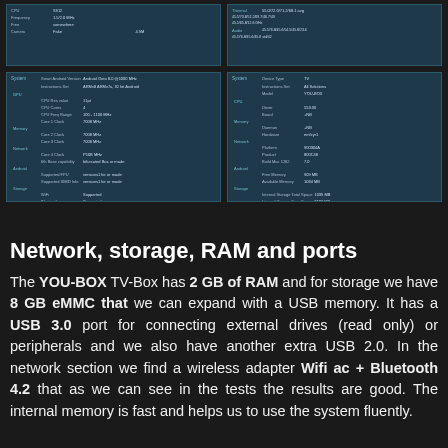[Figure (screenshot): Two small screenshots of device specification panels shown side by side at top of page]
[Figure (screenshot): Two larger screenshots of device specification/benchmark panels shown side by side]
Network, storage, RAM and ports
The YOU-BOX TV-Box has 2 GB of RAM and for storage we have 8 GB eMMC that we can expand with a USB memory. It has a USB 3.0 port for connecting external drives (read only) or peripherals and we also have another extra USB 2.0. In the network section we find a wireless adapter Wifi ac + Bluetooth 4.2 that as we can see in the tests the results are good. The internal memory is fast and helps us to use the system fluently.